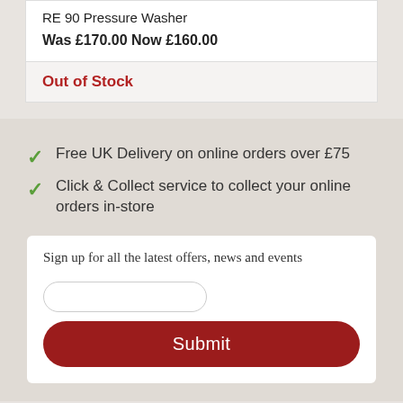RE 90 Pressure Washer
Was £170.00 Now £160.00
Out of Stock
Free UK Delivery on online orders over £75
Click & Collect service to collect your online orders in-store
Sign up for all the latest offers, news and events
Submit